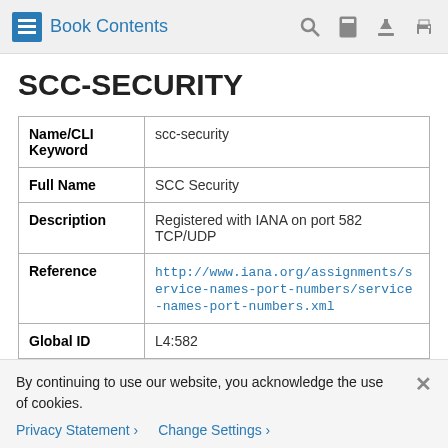Book Contents
SCC-SECURITY
| Name/CLI Keyword | scc-security |
| Full Name | SCC Security |
| Description | Registered with IANA on port 582 TCP/UDP |
| Reference | http://www.iana.org/assignments/service-names-port-numbers/service-names-port-numbers.xml |
| Global ID | L4:582 |
| ID | 496 |
By continuing to use our website, you acknowledge the use of cookies.
Privacy Statement > Change Settings >